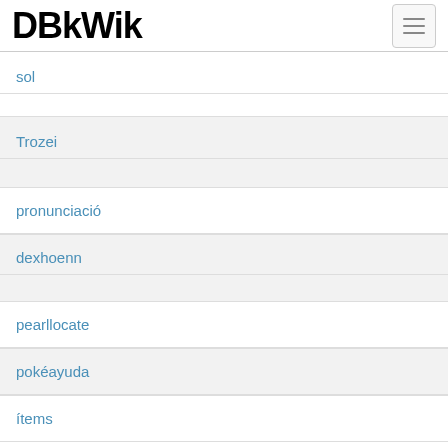DBkWik
sol
Trozei
pronunciació
dexhoenn
pearllocate
pokéayuda
ítems